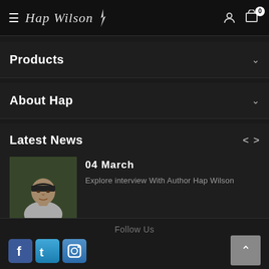Hap Wilson — site navigation header with hamburger menu, user icon, and cart (0)
Products
About Hap
Latest News
[Figure (photo): Outdoor photo of a man wearing a dark bandana, seated outdoors with green foliage in background]
04 March
Explore interview With Author Hap Wilson
Follow Us — social media icons for Facebook, Twitter, and Instagram/other